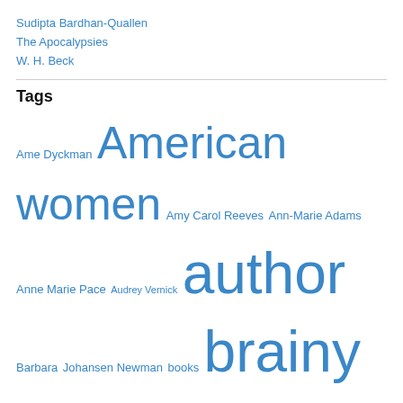Sudipta Bardhan-Quallen
The Apocalypsies
W. H. Beck
Tags
Ame Dyckman  American women  Amy Carol Reeves  Ann-Marie Adams  Anne Marie Pace  Audrey Vernick  author  Barbara Johansen Newman  books  brainy women quotes  busy librarian  children  children's author  children's editor  college  contest  disney  Dog Gone  Donna Farrell  Duck Duck Moose  editor  education  Eleanor Roosevelt  famous american women  famous quotes